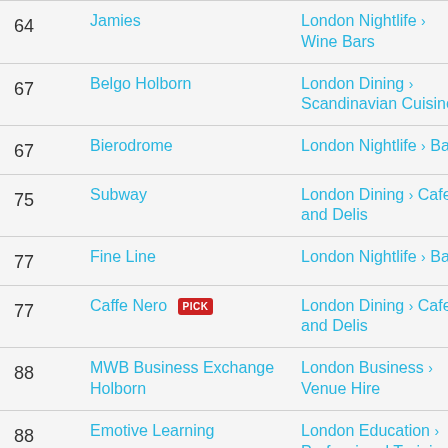| Rank | Name | Category |
| --- | --- | --- |
| 64 | Jamies | London Nightlife > Wine Bars |
| 67 | Belgo Holborn | London Dining > Scandinavian Cuisine |
| 67 | Bierodrome | London Nightlife > Bars |
| 75 | Subway | London Dining > Cafes and Delis |
| 77 | Fine Line | London Nightlife > Bars |
| 77 | Caffe Nero [PICK] | London Dining > Cafes and Delis |
| 88 | MWB Business Exchange Holborn | London Business > Venue Hire |
| 88 | Emotive Learning | London Education > Professional Training |